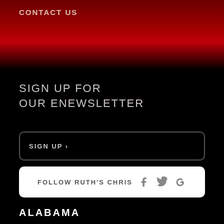CONTACT US
SIGN UP FOR OUR ENEWSLETTER
SIGN UP >
FOLLOW RUTH'S CHRIS
ALABAMA
Birmingham, AL
Huntsville, AL
GEORGIA
Alpharetta, GA